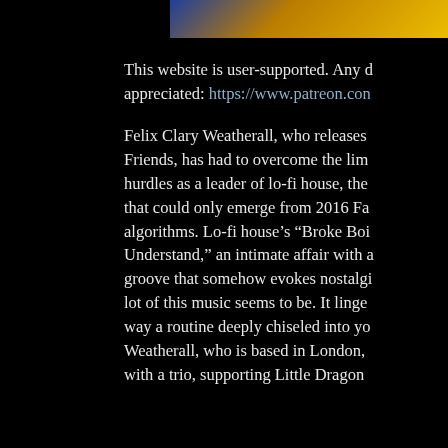[Figure (photo): Partial photo strip at top of page showing colorful image (blue and yellow/orange tones), partially cropped]
This website is user-supported. Any donations are appreciated: https://www.patreon.con
Felix Clary Weatherall, who releases Friends, has had to overcome the lim hurdles as a leader of lo-fi house, the that could only emerge from 2016 Fa algorithms. Lo-fi house's "Broke Boi Understand," an intimate affair with a groove that somehow evokes nostalgi lot of this music seems to be. It linge way a routine deeply chiseled into yo Weatherall, who is based in London, with a trio, supporting Little Dragon